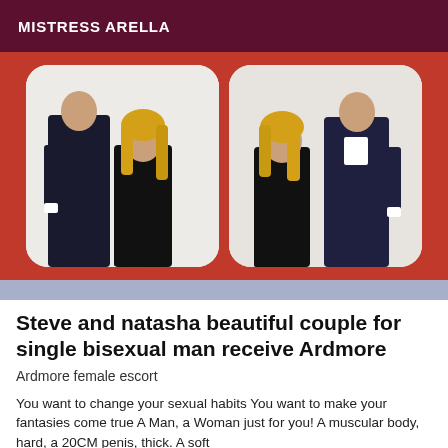MISTRESS ARELLA
[Figure (photo): Two side-by-side photos of a couple — a man in a dark suit and a blonde woman in a black dress — posed together against a white background, displayed on a red background.]
Steve and natasha beautiful couple for single bisexual man receive Ardmore
Ardmore female escort
You want to change your sexual habits You want to make your fantasies come true A Man, a Woman just for you! A muscular body, hard, a 20CM penis, thick. A soft